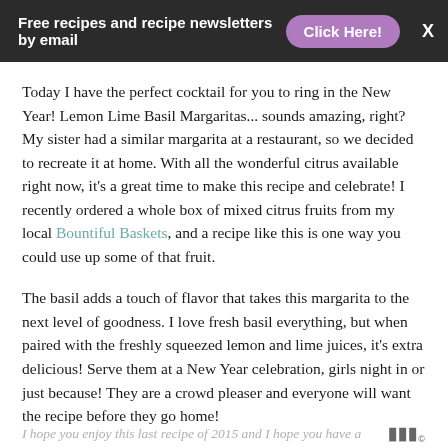Free recipes and recipe newsletters by email  Click Here!  X
Today I have the perfect cocktail for you to ring in the New Year! Lemon Lime Basil Margaritas... sounds amazing, right? My sister had a similar margarita at a restaurant, so we decided to recreate it at home. With all the wonderful citrus available right now, it's a great time to make this recipe and celebrate! I recently ordered a whole box of mixed citrus fruits from my local Bountiful Baskets, and a recipe like this is one way you could use up some of that fruit.
The basil adds a touch of flavor that takes this margarita to the next level of goodness. I love fresh basil everything, but when paired with the freshly squeezed lemon and lime juices, it's extra delicious! Serve them at a New Year celebration, girls night in or just because! They are a crowd pleaser and everyone will want the recipe before they go home!
I hope you enjoy this last recipe of 2015 and I hope you have a